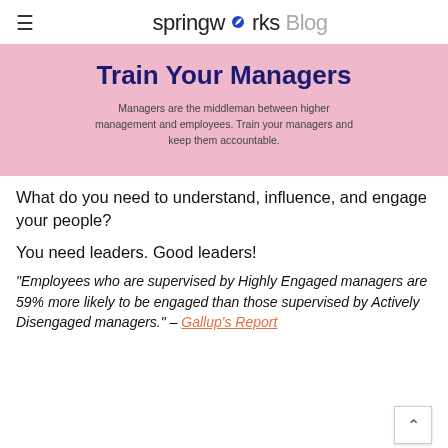springworks Blog
Train Your Managers
Managers are the middleman between higher management and employees. Train your managers and keep them accountable.
What do you need to understand, influence, and engage your people?
You need leaders. Good leaders!
"Employees who are supervised by Highly Engaged managers are 59% more likely to be engaged than those supervised by Actively Disengaged managers." – Gallup's Report